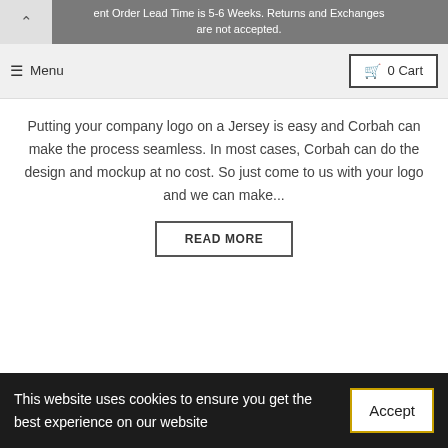ent Order Lead Time is 5-6 Weeks. Returns and Exchanges are not accepted.
Menu   0 Cart
Putting your company logo on a Jersey is easy and Corbah can make the process seamless. In most cases, Corbah can do the design and mockup at no cost. So just come to us with your logo and we can make...
READ MORE
This website uses cookies to ensure you get the best experience on our website